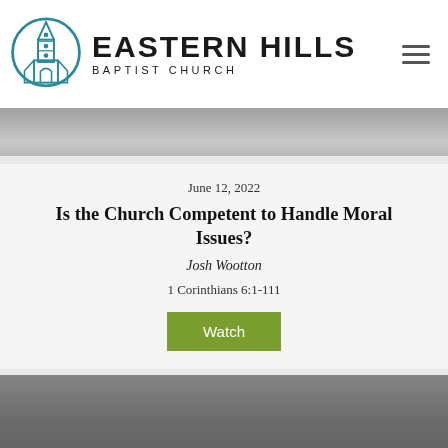[Figure (logo): Eastern Hills Baptist Church logo — circular emblem with a stylized church/tower building icon in teal, beside the text EASTERN HILLS BAPTIST CHURCH]
[Figure (photo): Blurred gray background photo strip at top of content area]
June 12, 2022
Is the Church Competent to Handle Moral Issues?
Josh Wootton
1 Corinthians 6:1-111
[Figure (other): Green Watch button]
[Figure (photo): Blurred dark photo strip at bottom with Embracing text overlay]
Embracing